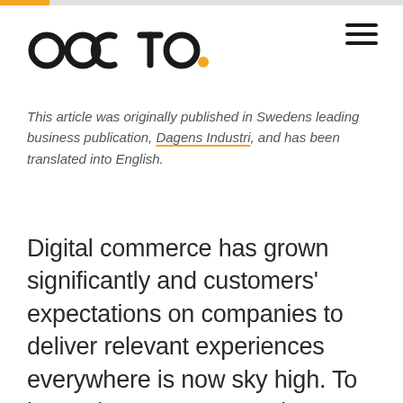[Figure (logo): Occtoo logo in black with orange dot, followed by hamburger menu icon on the right]
This article was originally published in Swedens leading business publication, Dagens Industri, and has been translated into English.
Digital commerce has grown significantly and customers' expectations on companies to deliver relevant experiences everywhere is now sky high. To be a winner you can no longer compete simply by having a wide selection of products and/or low prices. For increased growth and profitability,